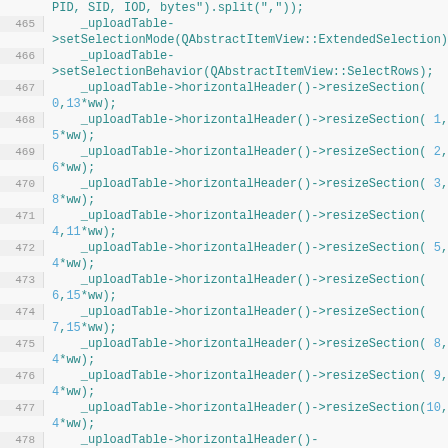[Figure (screenshot): Source code snippet showing C++ Qt code for upload table setup, lines 465-480, with line numbers in grey on the left and code in teal/cyan monospace font on dark background]
PID, SID, IOD, bytes").split(","));
465    _uploadTable->setSelectionMode(QAbstractItemView::ExtendedSelection);
466    _uploadTable->setSelectionBehavior(QAbstractItemView::SelectRows);
467    _uploadTable->horizontalHeader()->resizeSection(0,13*ww);
468    _uploadTable->horizontalHeader()->resizeSection( 1,5*ww);
469    _uploadTable->horizontalHeader()->resizeSection( 2,6*ww);
470    _uploadTable->horizontalHeader()->resizeSection( 3,8*ww);
471    _uploadTable->horizontalHeader()->resizeSection(4,11*ww);
472    _uploadTable->horizontalHeader()->resizeSection( 5,4*ww);
473    _uploadTable->horizontalHeader()->resizeSection(6,15*ww);
474    _uploadTable->horizontalHeader()->resizeSection(7,15*ww);
475    _uploadTable->horizontalHeader()->resizeSection( 8,4*ww);
476    _uploadTable->horizontalHeader()->resizeSection( 9,4*ww);
477    _uploadTable->horizontalHeader()->resizeSection(10,4*ww);
478    _uploadTable->horizontalHeader()->resizeSection(11,12*ww);
479    _uploadTable->horizontalHeader()->setResizeMode(QHeaderView::Interactive);
480    _uploadTable->horizontalHeader()->